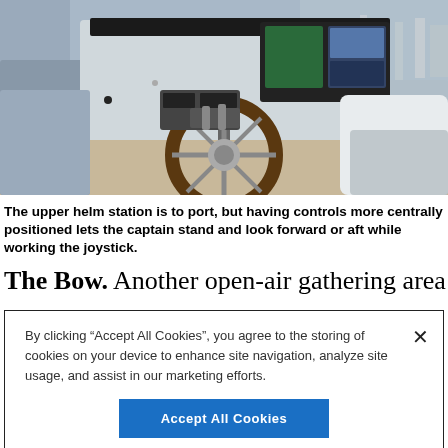[Figure (photo): Interior view of a yacht upper helm station showing a wooden steering wheel, navigation screens, controls console, and white fiberglass surround with a marina visible in the background]
The upper helm station is to port, but having controls more centrally positioned lets the captain stand and look forward or aft while working the joystick.
The Bow. Another open-air gathering area is in the
By clicking “Accept All Cookies”, you agree to the storing of cookies on your device to enhance site navigation, analyze site usage, and assist in our marketing efforts.
Accept All Cookies